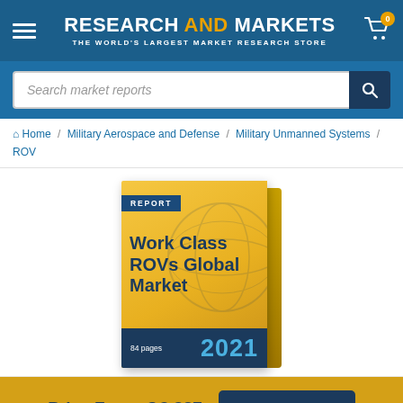RESEARCH AND MARKETS — THE WORLD'S LARGEST MARKET RESEARCH STORE
Search market reports
Home / Military Aerospace and Defense / Military Unmanned Systems / ROV
[Figure (illustration): Book cover for 'Work Class ROVs Global Market' report, 84 pages, 2021, published by Research and Markets]
Price From: $3,327  VIEW PRICING